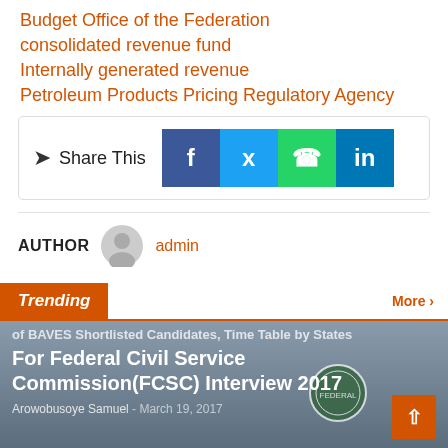Budget Office of the Federation
consolidated revenue fund
Internally generated revenue
Petroleum Products Pricing Regulatory Agency
[Figure (infographic): Share This box with social media buttons for Facebook, Twitter, WhatsApp, and LinkedIn]
AUTHOR   admin
Trending
[Figure (photo): Background image for trending article about BAVES shortlisted candidates timetable by states for Federal Civil Service Commission (FCSC) Interview 2017, by Arowobusoye Samuel, March 19, 2017]